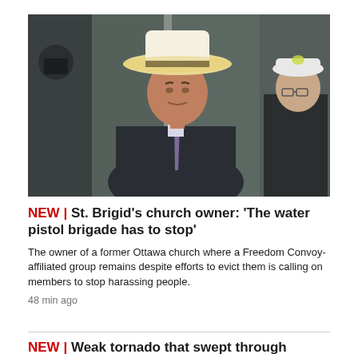[Figure (photo): A man wearing a white wide-brimmed hat and dark suit with a purple tie, standing outdoors near a glass building entrance. Another man in a white cap and dark jacket stands behind him.]
NEW | St. Brigid's church owner: 'The water pistol brigade has to stop'
The owner of a former Ottawa church where a Freedom Convoy-affiliated group remains despite efforts to evict them is calling on members to stop harassing people.
48 min ago
NEW | Weak tornado that swept through